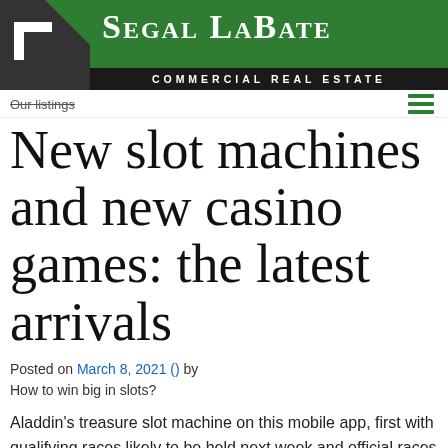[Figure (logo): Segal LaBate Commercial Real Estate logo with dark square icon and green background]
Our listings
New slot machines and new casino games: the latest arrivals
Posted on March 8, 2021 () by
How to win big in slots?
Aladdin's treasure slot machine on this mobile app, first with qualifying races likely to be held next week and official races starting the following week.